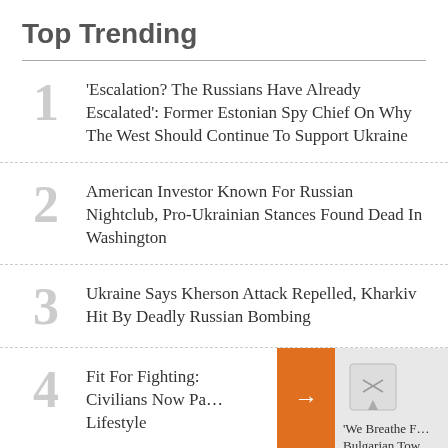Top Trending
'Escalation? The Russians Have Already Escalated': Former Estonian Spy Chief On Why The West Should Continue To Support Ukraine
American Investor Known For Russian Nightclub, Pro-Ukrainian Stances Found Dead In Washington
Ukraine Says Kherson Attack Repelled, Kharkiv Hit By Deadly Russian Bombing
Fit For Fighting: Civilians Now Pa... Lifestyle
'We Breathe F... Bulgarian Tow... Battle Against... Domineering C...